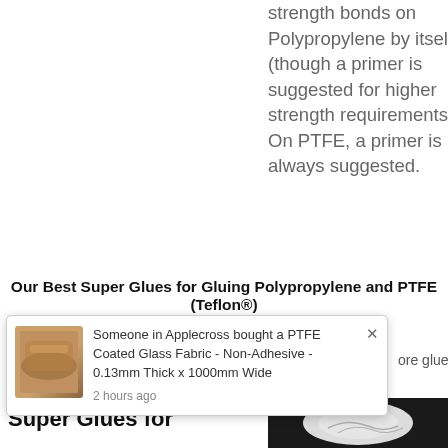strength bonds on Polypropylene by itself (though a primer is suggested for higher strength requirements). On PTFE, a primer is always suggested.
Our Best Super Glues for Gluing Polypropylene and PTFE (Teflon®)
[Figure (screenshot): Notification popup showing a product purchase: 'Someone in Applecross bought a PTFE Coated Glass Fabric - Non-Adhesive - 0.13mm Thick x 1000mm Wide' with thumbnail image and timestamp '2 hours ago']
ore glues to our
Super Glues for
[Figure (photo): Dark background photo, partially visible, showing a round white object]